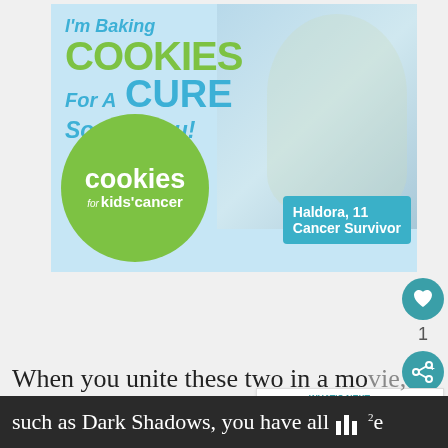[Figure (infographic): Advertisement banner for Cookies for Kids' Cancer showing a smiling girl holding a plate of cookies. Text reads: I'm Baking COOKIES For A CURE So can you! with green circle logo for cookies for kids' cancer and teal badge saying Haldora, 11 Cancer Survivor]
[Figure (infographic): Web page UI elements: teal heart button, number 1, teal share button, and 'What's Next' recommendation card showing '20 Thoughts Every Mom...']
When you unite these two in a movie,
such as Dark Shadows, you have all